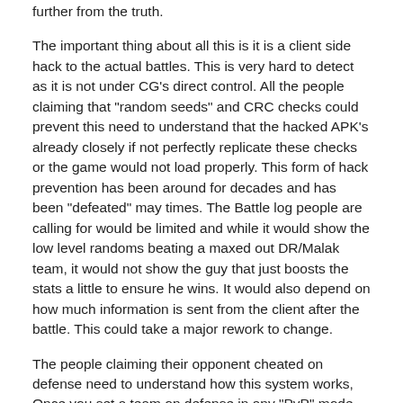further from the truth.
The important thing about all this is it is a client side hack to the actual battles. This is very hard to detect as it is not under CG's direct control. All the people claiming that "random seeds" and CRC checks could prevent this need to understand that the hacked APK's already closely if not perfectly replicate these checks or the game would not load properly. This form of hack prevention has been around for decades and has been "defeated" may times. The Battle log people are calling for would be limited and while it would show the low level randoms beating a maxed out DR/Malak team, it would not show the guy that just boosts the stats a little to ensure he wins. It would also depend on how much information is sent from the client after the battle. This could take a major rework to change.
The people claiming their opponent cheated on defense need to understand how this system works, Once you set a team on defense in any "PvP" mode, the information is stored on their server. When someone chooses to attack that team the data is copied to that clients device for the battle. The only way to "cheat" is to gain access to the server and modify the files in